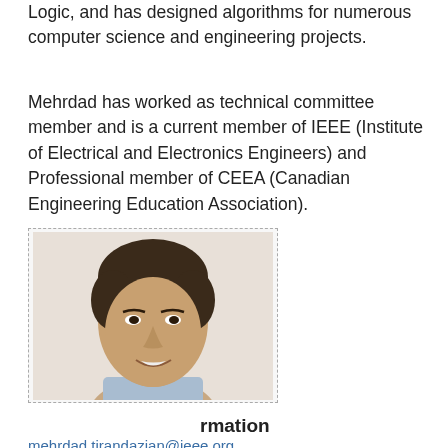Logic, and has designed algorithms for numerous computer science and engineering projects.
Mehrdad has worked as technical committee member and is a current member of IEEE (Institute of Electrical and Electronics Engineers) and Professional member of CEEA (Canadian Engineering Education Association).
[Figure (photo): Portrait photo of Mehrdad Tirandazian, a middle-aged man with dark hair, smiling, wearing a light blue collared shirt. The photo is framed with a dashed border.]
Back to Top
rmation
mehrdad.tirandazian@ieee.org